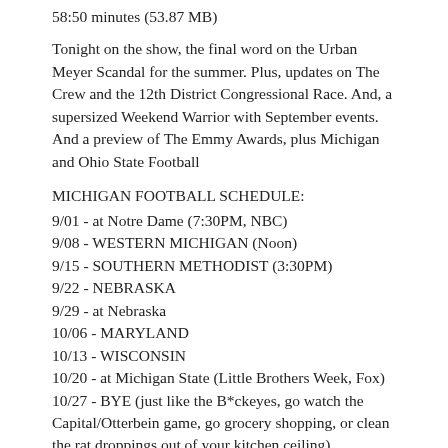58:50 minutes (53.87 MB)
Tonight on the show, the final word on the Urban Meyer Scandal for the summer. Plus, updates on The Crew and the 12th District Congressional Race. And, a supersized Weekend Warrior with September events. And a preview of The Emmy Awards, plus Michigan and Ohio State Football
MICHIGAN FOOTBALL SCHEDULE:
9/01 - at Notre Dame (7:30PM, NBC)
9/08 - WESTERN MICHIGAN (Noon)
9/15 - SOUTHERN METHODIST (3:30PM)
9/22 - NEBRASKA
9/29 - at Nebraska
10/06 - MARYLAND
10/13 - WISCONSIN
10/20 - at Michigan State (Little Brothers Week, Fox)
10/27 - BYE (just like the B*ckeyes, go watch the Capital/Otterbein game, go grocery shopping, or clean the rat droppings out of your kitchen ceiling)